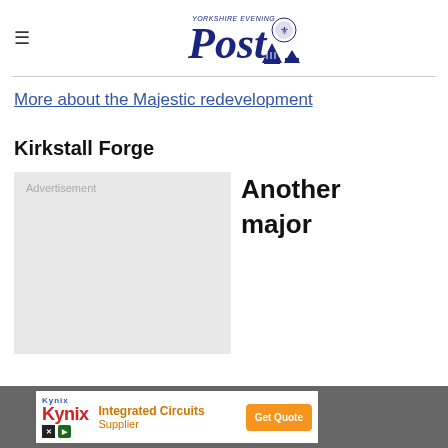Yorkshire Evening Post
More about the Majestic redevelopment
Kirkstall Forge
[Figure (other): Advertisement placeholder box (grey rectangle)]
Another major
[Figure (other): Kynix Integrated Circuits Supplier advertisement banner at bottom of page with Get Quote button]